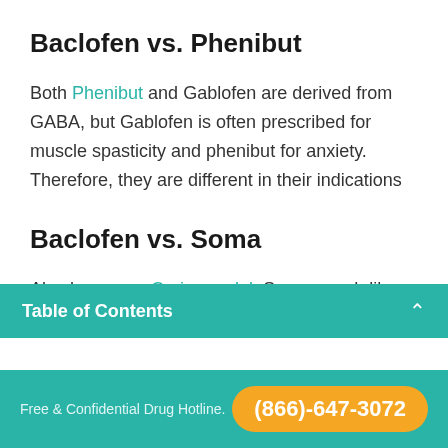Baclofen vs. Phenibut
Both Phenibut and Gablofen are derived from GABA, but Gablofen is often prescribed for muscle spasticity and phenibut for anxiety. Therefore, they are different in their indications
Baclofen vs. Soma
Also known as Carisoprodol, Soma, much like Xanax, has the potential for being abused and
Table of Contents
Free & Confidential Drug Hotline. (866)-647-3072